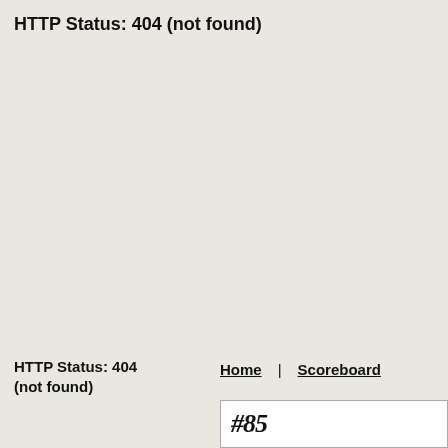HTTP Status: 404 (not found)
HTTP Status: 404
(not found)
Home | Scoreboard
#85